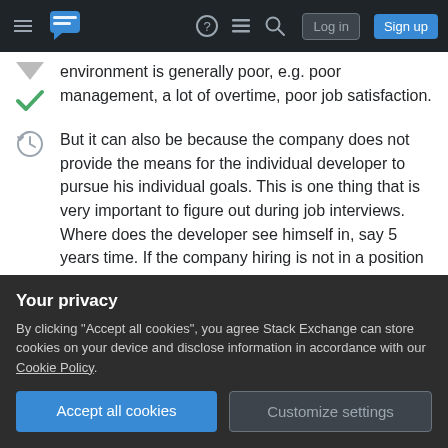Stack Exchange navigation bar with Log in and Sign up buttons
environment is generally poor, e.g. poor management, a lot of overtime, poor job satisfaction.
But it can also be because the company does not provide the means for the individual developer to pursue his individual goals. This is one thing that is very important to figure out during job interviews. Where does the developer see himself in, say 5 years time. If the company hiring is not in a position to provide that opportunity for that developer, there is great likelihood that the developer will pursue
Your privacy
By clicking "Accept all cookies", you agree Stack Exchange can store cookies on your device and disclose information in accordance with our Cookie Policy.
Accept all cookies
Customize settings